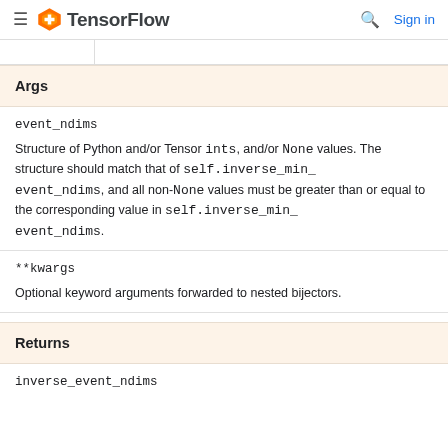TensorFlow  Sign in
Args
event_ndims
Structure of Python and/or Tensor ints, and/or None values. The structure should match that of self.inverse_min_event_ndims, and all non-None values must be greater than or equal to the corresponding value in self.inverse_min_event_ndims.
**kwargs
Optional keyword arguments forwarded to nested bijectors.
Returns
inverse_event_ndims